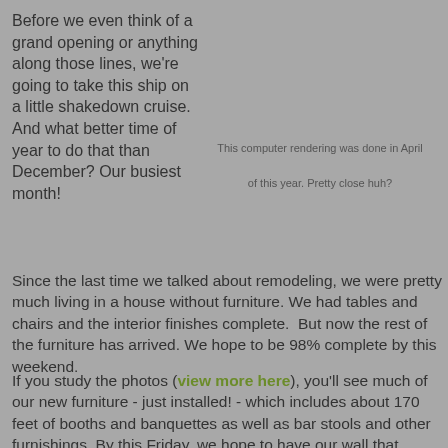Before we even think of a grand opening or anything along those lines, we're going to take this ship on a little shakedown cruise. And what better time of year to do that than December? Our busiest month!
This computer rendering was done in April of this year. Pretty close huh?
Since the last time we talked about remodeling, we were pretty much living in a house without furniture. We had tables and chairs and the interior finishes complete.  But now the rest of the furniture has arrived. We hope to be 98% complete by this weekend.
If you study the photos (view more here), you'll see much of our new furniture - just installed! - which includes about 170 feet of booths and banquettes as well as bar stools and other furnishings. By this Friday, we hope to have our wall that